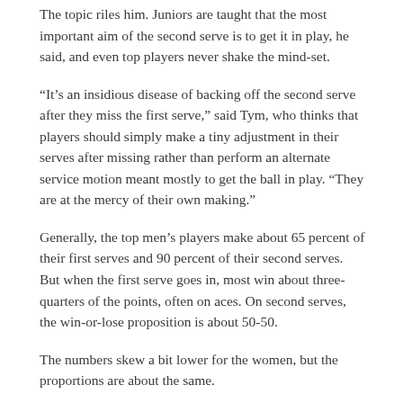The topic riles him. Juniors are taught that the most important aim of the second serve is to get it in play, he said, and even top players never shake the mind-set.
“It’s an insidious disease of backing off the second serve after they miss the first serve,” said Tym, who thinks that players should simply make a tiny adjustment in their serves after missing rather than perform an alternate service motion meant mostly to get the ball in play. “They are at the mercy of their own making.”
Generally, the top men’s players make about 65 percent of their first serves and 90 percent of their second serves. But when the first serve goes in, most win about three-quarters of the points, often on aces. On second serves, the win-or-lose proposition is about 50-50.
The numbers skew a bit lower for the women, but the proportions are about the same.
Nine of the top 20 men as of the Aug. 2 rankings would be better off statistically or virtually unaffected by using their first-serve technique on the second serve. The list includes Novak Djokovic, Nikolay Davydenko, Ferrer, and others of the top with domination...